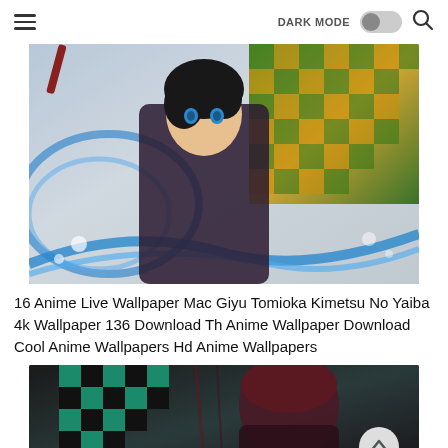DARK MODE [toggle] [search]
[Figure (illustration): Anime character Giyu Tomioka from Kimetsu No Yaiba with water breathing effect, blue swirls, checkered green-yellow haori, dark background]
16 Anime Live Wallpaper Mac Giyu Tomioka Kimetsu No Yaiba 4k Wallpaper 136 Download Th Anime Wallpaper Download Cool Anime Wallpapers Hd Anime Wallpapers
[Figure (illustration): Anime character with checkered teal/black pattern robe and dark reddish hair, dark moody background]